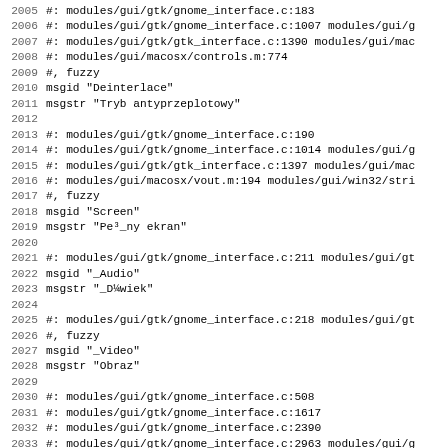2005 #: modules/gui/gtk/gnome_interface.c:183
2006 #: modules/gui/gtk/gnome_interface.c:1007 modules/gui/g
2007 #: modules/gui/gtk/gtk_interface.c:1390 modules/gui/mac
2008 #: modules/gui/macosx/controls.m:774
2009 #, fuzzy
2010 msgid "Deinterlace"
2011 msgstr "Tryb antyprzeplotowy"
2012
2013 #: modules/gui/gtk/gnome_interface.c:190
2014 #: modules/gui/gtk/gnome_interface.c:1014 modules/gui/g
2015 #: modules/gui/gtk/gtk_interface.c:1397 modules/gui/mac
2016 #: modules/gui/macosx/vout.m:194 modules/gui/win32/stri
2017 #, fuzzy
2018 msgid "Screen"
2019 msgstr "Pe³_ny ekran"
2020
2021 #: modules/gui/gtk/gnome_interface.c:211 modules/gui/gt
2022 msgid "_Audio"
2023 msgstr "_D¼wiek"
2024
2025 #: modules/gui/gtk/gnome_interface.c:218 modules/gui/gt
2026 #, fuzzy
2027 msgid "_Video"
2028 msgstr "Obraz"
2029
2030 #: modules/gui/gtk/gnome_interface.c:508
2031 #: modules/gui/gtk/gnome_interface.c:1617
2032 #: modules/gui/gtk/gnome_interface.c:2390
2033 #: modules/gui/gtk/gnome_interface.c:2963 modules/gui/g
2034 #: modules/gui/gtk/gtk_interface.c:1932 modules/gui/gtk
2035 #: modules/gui/gtk/gtk_interface.c:2966 modules/gui/gtk
2036 #: modules/gui/macosx/intf.m:301 modules/gui/macosx/ope
2037 #: modules/gui/macosx/intf.m:311 modules/gui/macosx/...